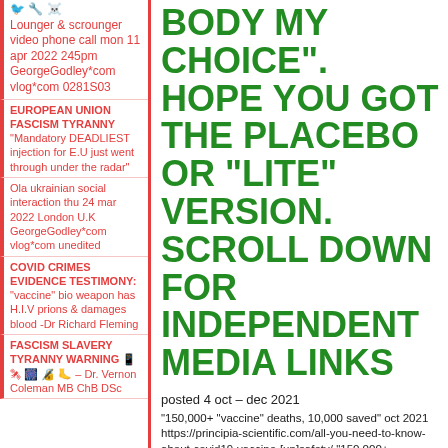🐦 🔧 ☠️ Lounger & scrounger video phone call mon 11 apr 2022 245pm GeorgeGodley*com vlog*com 0281S03
EUROPEAN UNION FASCISM TYRANNY "Mandatory DEADLIEST injection for E.U just went through under the radar"
Ola ukrainian social interaction thu 24 mar 2022 London U.K GeorgeGodley*com vlog*com unedited
COVID CRIMES EVIDENCE TESTIMONY: "vaccine" bio weapon has H.I.V prions & damages blood -Dr Richard Fleming
FASCISM SLAVERY TYRANNY WARNING 📱 🛰 🎆 🔏 🦶 – Dr. Vernon Coleman MB ChB DSc
BODY MY CHOICE". HOPE YOU GOT THE PLACEBO OR "LITE" VERSION. SCROLL DOWN FOR INDEPENDENT MEDIA LINKS
posted 4 oct – dec 2021
"150,000+ "vaccine" deaths, 10,000 saved" oct 2021 https://principia-scientific.com/all-you-need-to-know-about-covid19-vaccine-[un]safety/ "150,000+ "https://stevekirsch.substack.com/p/how-to-verify-for-yourself-that-over-150,000